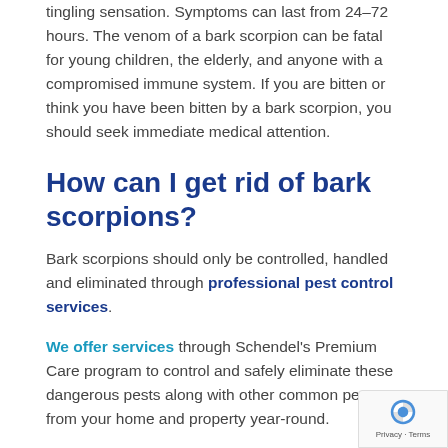tingling sensation. Symptoms can last from 24–72 hours. The venom of a bark scorpion can be fatal for young children, the elderly, and anyone with a compromised immune system. If you are bitten or think you have been bitten by a bark scorpion, you should seek immediate medical attention.
How can I get rid of bark scorpions?
Bark scorpions should only be controlled, handled and eliminated through professional pest control services.
We offer services through Schendel's Premium Care program to control and safely eliminate these dangerous pests along with other common pests from your home and property year-round.